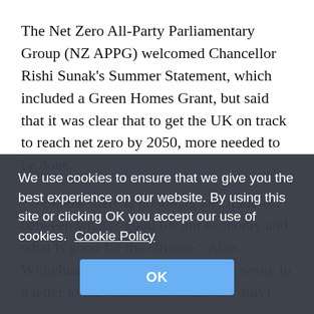The Net Zero All-Party Parliamentary Group (NZ APPG) welcomed Chancellor Rishi Sunak's Summer Statement, which included a Green Homes Grant, but said that it was clear that to get the UK on track to reach net zero by 2050, more needed to be done.
"We know there is no longer any trade-off between what is good for our economy and what is good for the climate," Alan Whitehead, chair of the NZ APPG, wrote in a letter to the Chancellor today (21 July).
"Given the enormity of the COVID-19 pandemic and the net zero challenge the government must implement an immediate, more expansive and
We use cookies to ensure that we give you the best experience on our website. By using this site or clicking OK you accept our use of cookies.  Cookie Policy
OK